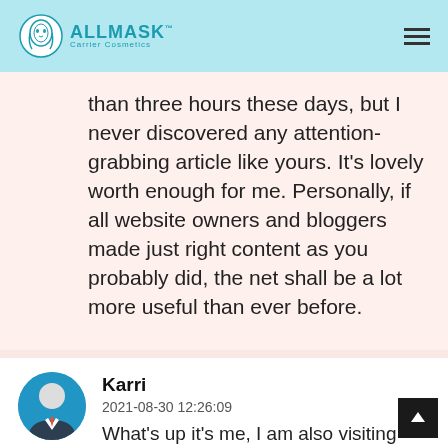ALLMASK™ Carrier Cosmetics
than three hours these days, but I never discovered any attention-grabbing article like yours. It's lovely worth enough for me. Personally, if all website owners and bloggers made just right content as you probably did, the net shall be a lot more useful than ever before.
Karri
2021-08-30 12:26:09
What's up it's me, I am also visiting